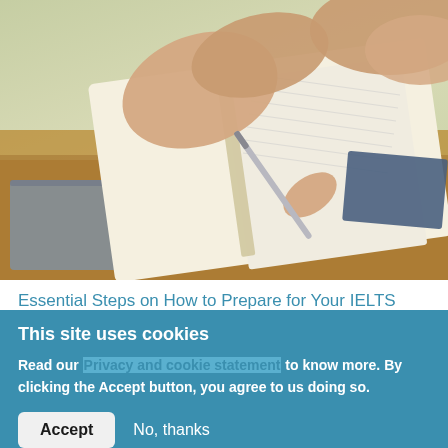[Figure (photo): A person writing in an open book with a pen, with another book and what appears to be a phone visible on a wooden table. The background is blurred green (outdoor) light.]
Essential Steps on How to Prepare for Your IELTS Test
This site uses cookies
Read our Privacy and cookie statement to know more. By clicking the Accept button, you agree to us doing so.
Accept
No, thanks